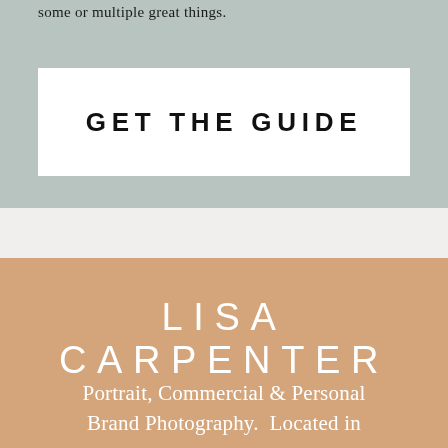some or multiple great things.
GET THE GUIDE
LISA CARPENTER
Portrait, Commercial & Personal Brand Photography.  Located in